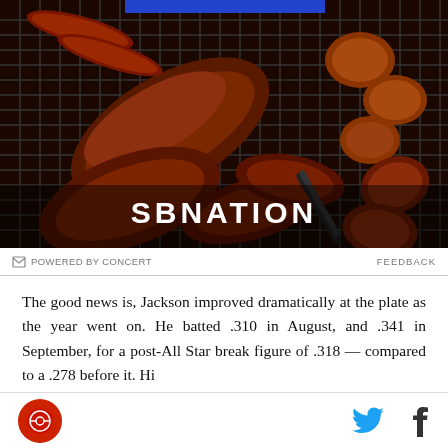[Figure (photo): A large round grill loaded with meats: ribs, sausages, chicken pieces, and other cuts, all heavily charred and seasoned, viewed from above. The SBNation logo is overlaid in white bold text near the bottom center.]
POWERED BY CONCERT   FEEDBACK
The good news is, Jackson improved dramatically at the plate as the year went on. He batted .310 in August, and .341 in September, for a post-All Star break figure of .318 — compared to a .278 before it. Hi
SB Nation logo | Twitter icon | Facebook icon